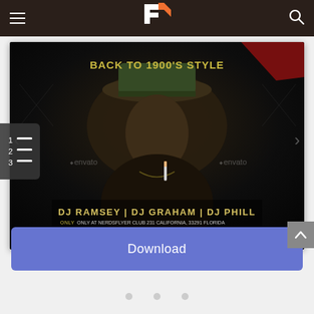Navigation bar with hamburger menu, logo, and search icon
[Figure (screenshot): A dark promotional flyer for a cowboy/western themed DJ night event. Text reads 'BACK TO 1900'S STYLE', 'DJ RAMSEY | DJ GRAHAM | DJ PHILL', 'ONLY AT NERDSFLYER CLUB 231 CALIFORNIA, 33291 FLORIDA', 'BOOK PLACE AT 444 322 7786 | WWW.COWBOYNIGHT.COM'. Features a man wearing a cowboy hat with 'envato' watermarks visible.]
[Figure (screenshot): Numbered list icon overlay (1, 2, 3 with horizontal lines) on dark background, positioned at left side of preview.]
Download
...